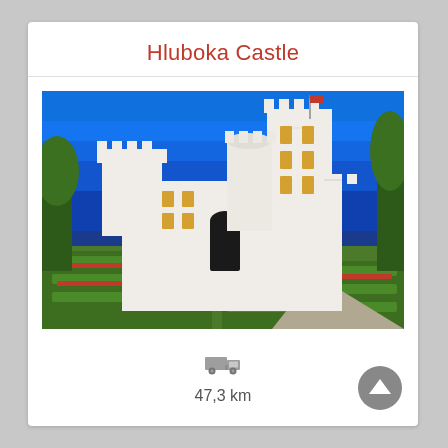Hluboka Castle
[Figure (photo): Photograph of Hluboka Castle, a white neo-Gothic castle with towers and battlements, surrounded by formal hedged gardens with red flowers, under a deep blue sky.]
[Figure (other): Grey truck/delivery icon]
47,3 km
[Figure (other): Grey circular up-arrow button]